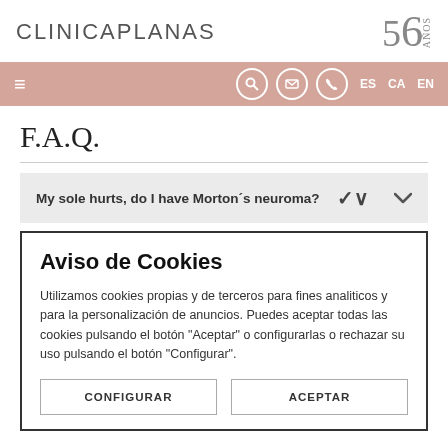CLINICAPLANAS
My sole hurts, do I have Morton´s neuroma?
Aviso de Cookies
Utilizamos cookies propias y de terceros para fines analiticos y para la personalización de anuncios. Puedes aceptar todas las cookies pulsando el botón "Aceptar" o configurarlas o rechazar su uso pulsando el botón "Configurar".
CONFIGURAR
ACEPTAR